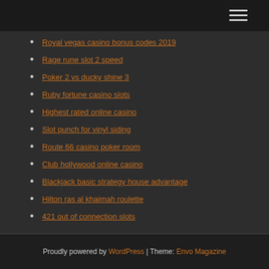[navigation header with hamburger menu]
Royal vegas casino bonus codes 2019
Rage rune slot 2 speed
Poker 2 vs ducky shine 3
Ruby fortune casino slots
Highest rated online casino
Slot punch for vinyl siding
Route 66 casino poker room
Club hollywood online casino
Blackjack basic strategy house advantage
Hilton ras al khaimah roulette
421 out of connection slots
Proudly powered by WordPress | Theme: Envo Magazine